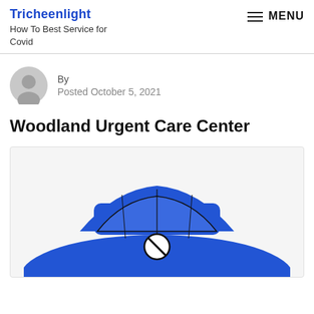Tricheenlight
How To Best Service for Covid
By
Posted October 5, 2021
Woodland Urgent Care Center
[Figure (illustration): Blue car illustration with a circular no/cancel symbol overlaid, partially cropped at bottom of page]